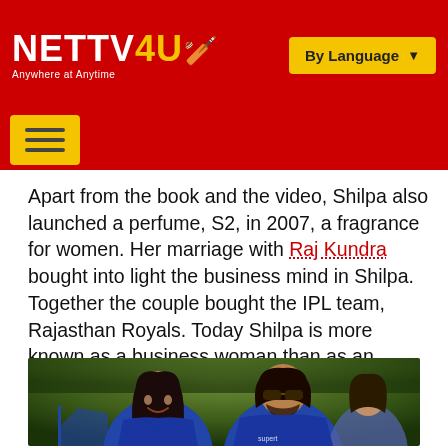NETTV4U — Anywhere at Anytime | By Language
Apart from the book and the video, Shilpa also launched a perfume, S2, in 2007, a fragrance for women. Her marriage with Raj Kundra bought into light the business mind in Shilpa. Together the couple bought the IPL team, Rajasthan Royals. Today Shilpa is more known as a business woman than as an actress.
[Figure (photo): Photo of Shilpa Shetty and Raj Kundra in Rajasthan Royals blue jerseys at an IPL cricket event, smiling, with another man visible in the background]